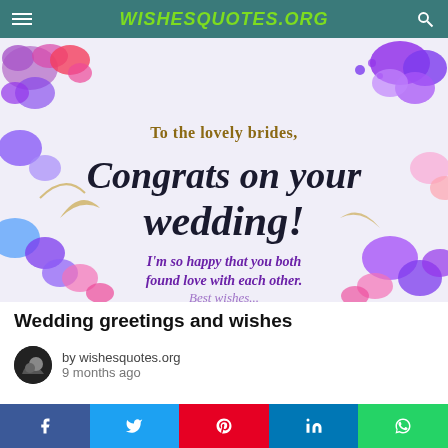WISHESQUOTES.ORG
[Figure (illustration): Wedding congratulations card with floral decorations (purple, pink, blue flowers), text reads: 'To the lovely brides, Congrats on your wedding! I'm so happy that you both found love with each other.']
Wedding greetings and wishes
by wishesquotes.org
9 months ago
[Figure (screenshot): Video player showing timestamp 0:19 on dark background]
f  t  p  in  (whatsapp icon)